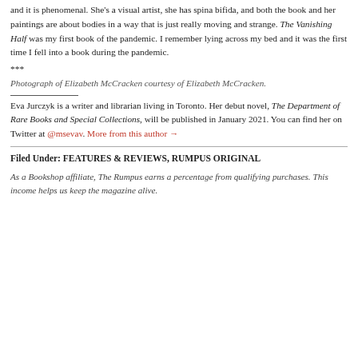and it is phenomenal. She's a visual artist, she has spina bifida, and both the book and her paintings are about bodies in a way that is just really moving and strange. The Vanishing Half was my first book of the pandemic. I remember lying across my bed and it was the first time I fell into a book during the pandemic.
***
Photograph of Elizabeth McCracken courtesy of Elizabeth McCracken.
Eva Jurczyk is a writer and librarian living in Toronto. Her debut novel, The Department of Rare Books and Special Collections, will be published in January 2021. You can find her on Twitter at @msevav. More from this author →
Filed Under: FEATURES & REVIEWS, RUMPUS ORIGINAL
As a Bookshop affiliate, The Rumpus earns a percentage from qualifying purchases. This income helps us keep the magazine alive.